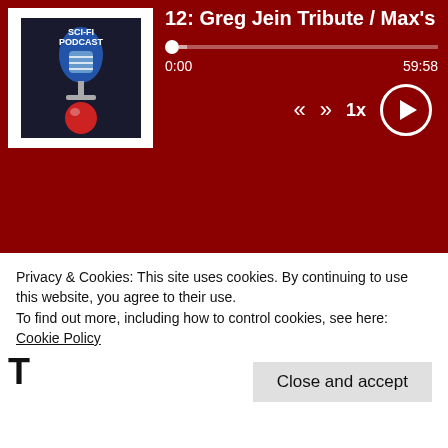12: Greg Jein Tribute / Max's
[Figure (screenshot): Podcast logo with microphone icon on dark background]
0:00    59:58
12: Greg Jein Tribute / Max's Master...    59:58    Aug 05, 2022
11: Jackass Forever - Behind the Sce...    1:06:55    Feb 21, 2022
10: Katy Perry    45:52    Oct 11, 2021
Privacy & Cookies: This site uses cookies. By continuing to use this website, you agree to their use.
To find out more, including how to control cookies, see here: Cookie Policy
Close and accept
FOLLOW  SHARE